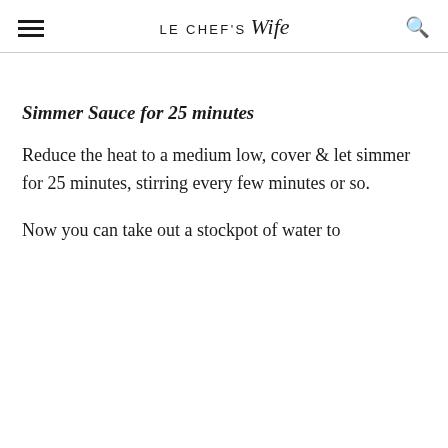LE CHEF'S Wife
Simmer Sauce for 25 minutes
Reduce the heat to a medium low, cover & let simmer for 25 minutes, stirring every few minutes or so.
Now you can take out a stockpot of water to